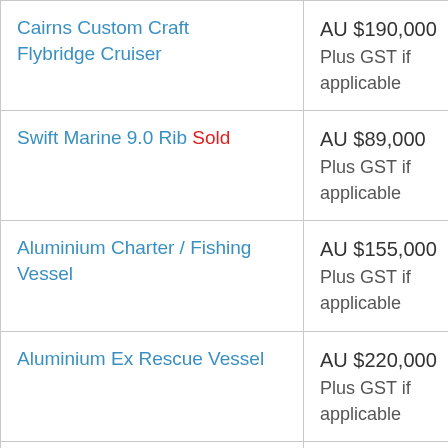| Vessel Name | Price |
| --- | --- |
| Cairns Custom Craft Flybridge Cruiser | AU $190,000
Plus GST if applicable |
| Swift Marine 9.0 Rib Sold | AU $89,000
Plus GST if applicable |
| Aluminium Charter / Fishing Vessel | AU $155,000
Plus GST if applicable |
| Aluminium Ex Rescue Vessel | AU $220,000
Plus GST if applicable |
| Commercial Jet Boat | POA
Plus GST if applicable |